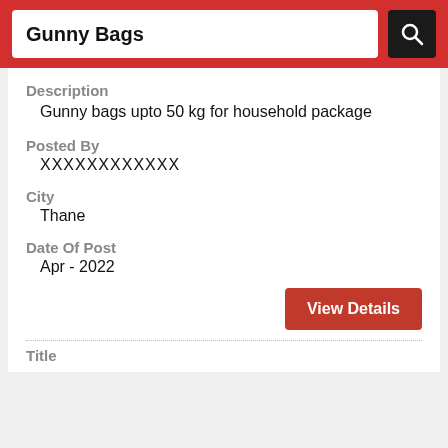Gunny Bags
Description
Gunny bags upto 50 kg for household package
Posted By
XXXXXXXXXXXX
City
Thane
Date Of Post
Apr - 2022
View Details
Title